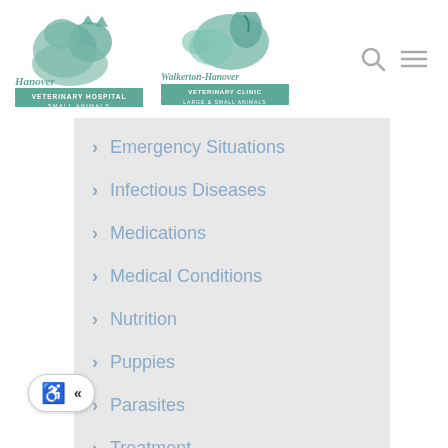[Figure (logo): Hanover Veterinary Hospital - Small Animals logo with teal animal silhouettes and text]
[Figure (logo): Walkerton-Hanover Veterinary Clinic - Large & Small Animals logo with teal horse and animal silhouettes]
Emergency Situations
Infectious Diseases
Medications
Medical Conditions
Nutrition
Puppies
Parasites
Treatment